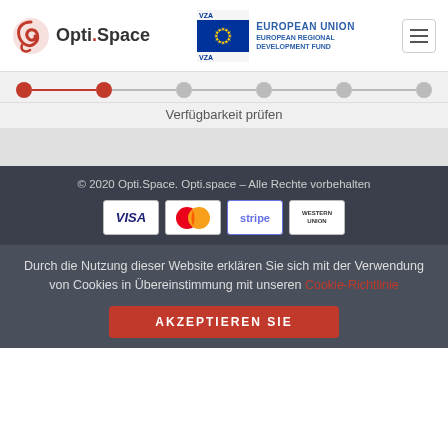[Figure (logo): Opti.Space logo (red swirl icon + text) and European Union European Regional Development Fund logo, plus hamburger menu button]
[Figure (infographic): Step progress bar with 2 active red dots and 4 inactive grey dots connected by lines]
Verfügbarkeit prüfen
© 2020 Opti.Space. Opti.space – Alle Rechte vorbehalten
[Figure (infographic): Payment logos: VISA, MasterCard, stripe, Western Union]
Durch die Nutzung dieser Website erklären Sie sich mit der Verwendung von Cookies in Übereinstimmung mit unseren Cookie-Richtlinie
AKZEPTIEREN SIE